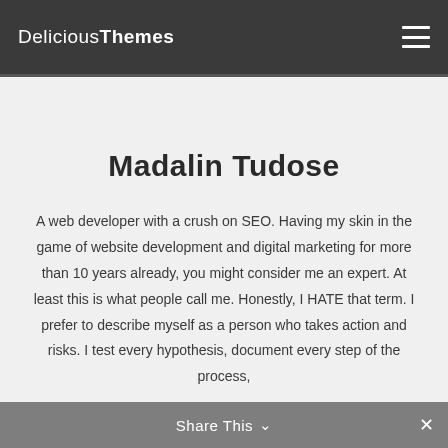DeliciousThemes
Madalin Tudose
A web developer with a crush on SEO. Having my skin in the game of website development and digital marketing for more than 10 years already, you might consider me an expert. At least this is what people call me. Honestly, I HATE that term. I prefer to describe myself as a person who takes action and risks. I test every hypothesis, document every step of the process,
Share This